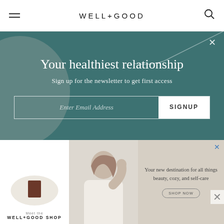WELL+GOOD
[Figure (screenshot): Newsletter signup overlay on a teal/dark-green background with decorative circle and curved line. Contains headline 'Your healthiest relationship', subtitle 'Sign up for the newsletter to get first access', and an email input form with SIGNUP button.]
1. Extend your stay
Have to fly to Chicago for meetings on Thursday and Friday? Consider extending your trip into the weekend, if possible. “If you’re booking the flight, look
[Figure (screenshot): Advertisement banner for Well+Good Shop showing a product on a plate (left), a woman touching her hair (center), and text 'Your new destination for all things beauty, cozy, and self-care' with a shop now button (right). Beige/cream color scheme.]